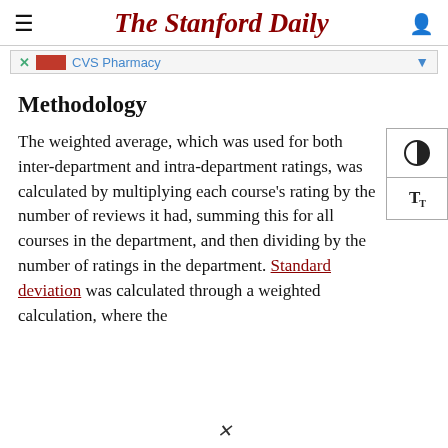The Stanford Daily
[Figure (other): CVS Pharmacy advertisement banner with close button and dropdown arrow]
Methodology
The weighted average, which was used for both inter-department and intra-department ratings, was calculated by multiplying each course's rating by the number of reviews it had, summing this for all courses in the department, and then dividing by the number of ratings in the department. Standard deviation was calculated through a weighted calculation, where the